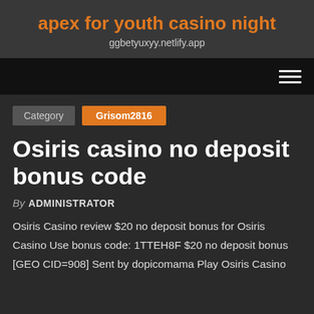apex for youth casino night
ggbetyuxyy.netlify.app
Category  Grisom2816
Osiris casino no deposit bonus code
By ADMINISTRATOR
Osiris Casino review $20 no deposit bonus for Osiris Casino Use bonus code: 1TTEH8F $20 no deposit bonus [GEO CID=908] Sent by dopicomama Play Osiris Casino